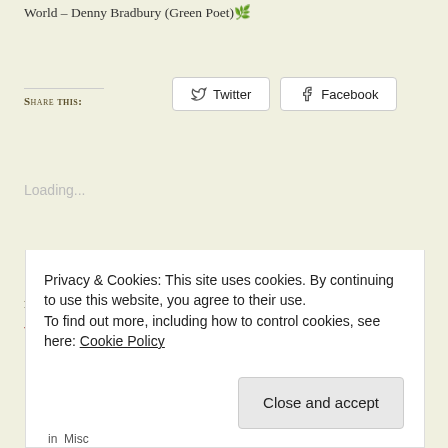World – Denny Bradbury (Green Poet) 🍃
Share this:
Loading...
Related
To Autumn by John Keats
A look at Thomas Hardy
Privacy & Cookies: This site uses cookies. By continuing to use this website, you agree to their use.
To find out more, including how to control cookies, see here: Cookie Policy
Close and accept
in  Misc